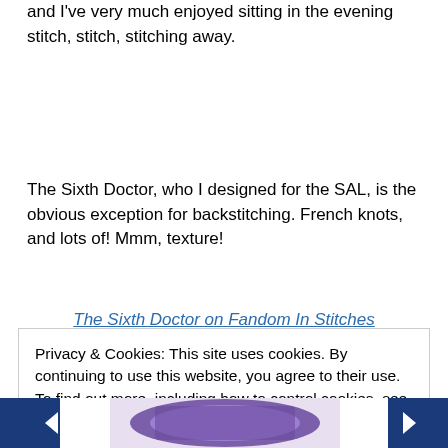and I've very much enjoyed sitting in the evening stitch, stitch, stitching away.
The Sixth Doctor, who I designed for the SAL, is the obvious exception for backstitching. French knots, and lots of! Mmm, texture!
The Sixth Doctor on Fandom In Stitches
Privacy & Cookies: This site uses cookies. By continuing to use this website, you agree to their use.
To find out more, including how to control cookies, see here: Cookie Policy
[Figure (illustration): Partial view of a cross-stitch embroidery image at the bottom of the page, showing a purple/blue design with navigation arrows on either side.]